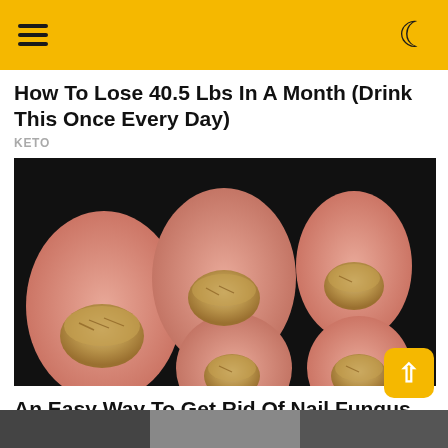≡ ☾
How To Lose 40.5 Lbs In A Month (Drink This Once Every Day)
KETO
[Figure (photo): Close-up photo of toes/fingers with severely infected, thickened, crumbling yellow-brown nails against pink skin.]
An Easy Way To Get Rid Of Nail Fungus Instantly!
NAIL REPAIR ESSENCE